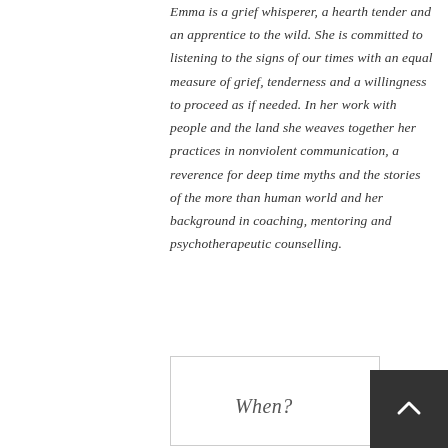Emma is a grief whisperer, a hearth tender and an apprentice to the wild. She is committed to listening to the signs of our times with an equal measure of grief, tenderness and a willingness to proceed as if needed. In her work with people and the land she weaves together her practices in nonviolent communication, a reverence for deep time myths and the stories of the more than human world and her background in coaching, mentoring and psychotherapeutic counselling.
[Figure (other): A bordered box partially visible at the bottom of the page with handwritten-style italic text 'When?' inside]